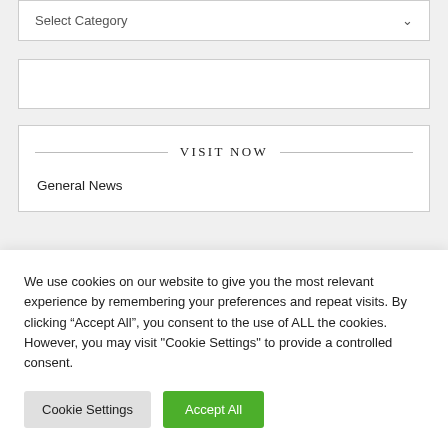Select Category
VISIT NOW
General News
We use cookies on our website to give you the most relevant experience by remembering your preferences and repeat visits. By clicking “Accept All”, you consent to the use of ALL the cookies. However, you may visit "Cookie Settings" to provide a controlled consent.
Cookie Settings
Accept All